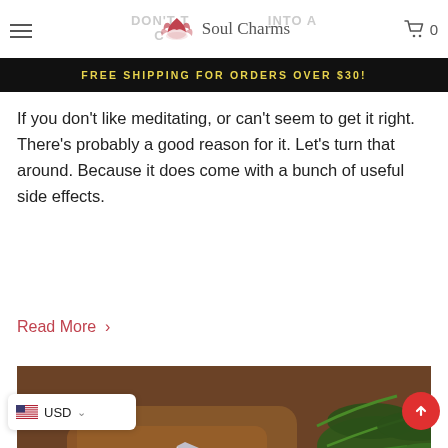Soul Charms — navigation header with hamburger menu, logo, and cart (0)
FREE SHIPPING FOR ORDERS OVER $30!
DON'T TURN MEDITATION INTO A CHORE (YOU DON'T HAVE TO)
If you don't like meditating, or can't seem to get it right. There's probably a good reason for it. Let's turn that around. Because it does come with a bunch of useful side effects.
Read More >
[Figure (photo): Overhead photo of crystals, succulents, and ferns arranged on a brown surface with small yellow flowers and green foliage]